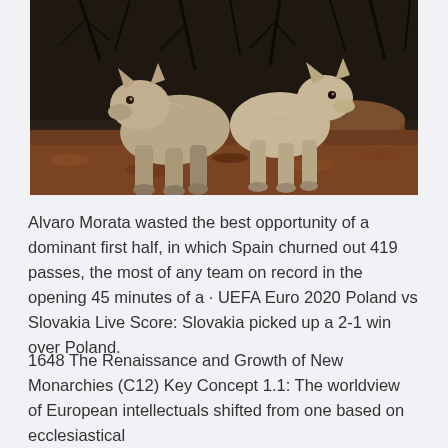[Figure (photo): Two wolves (or coyotes) standing on a forest floor with fallen logs and leaf litter in the background. The animals appear to be gray/brown in color.]
Alvaro Morata wasted the best opportunity of a dominant first half, in which Spain churned out 419 passes, the most of any team on record in the opening 45 minutes of a · UEFA Euro 2020 Poland vs Slovakia Live Score: Slovakia picked up a 2-1 win over Poland.
1648 The Renaissance and Growth of New Monarchies (C12) Key Concept 1.1: The worldview of European intellectuals shifted from one based on ecclesiastical